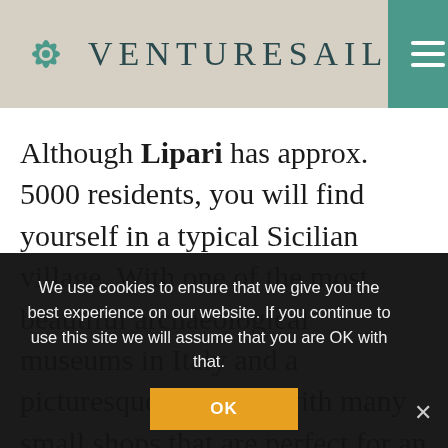VENTURESAIL
Although Lipari has approx. 5000 residents, you will find yourself in a typical Sicilian village. With one of the most beautiful archaeological museums in Italy and a picturesque old town with many small shops that are perfect for an afternoon stroll. Obsidian and pumice stone can be found around Monte Pilato and it is well worth taking a detour on the Vespa,
We use cookies to ensure that we give you the best experience on our website. If you continue to use this site we will assume that you are OK with that.